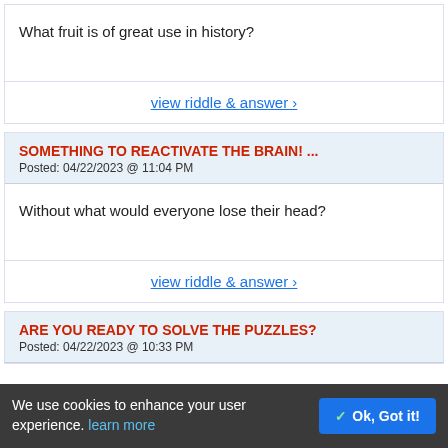What fruit is of great use in history?
view riddle & answer ›
SOMETHING TO REACTIVATE THE BRAIN! ...
Posted: 04/22/2023 @ 11:04 PM
Without what would everyone lose their head?
view riddle & answer ›
ARE YOU READY TO SOLVE THE PUZZLES?
Posted: 04/22/2023 @ 10:33 PM
We use cookies to enhance your user experience. learn more